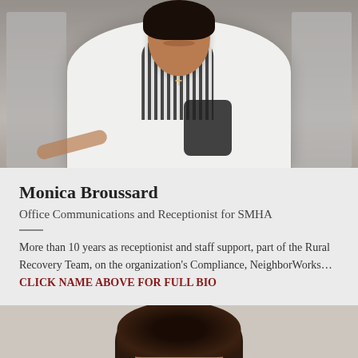[Figure (photo): A smiling woman in a white blazer over a striped top, seated among white folding chairs, holding a dark bag. Taken in a meeting or community room setting.]
Monica Broussard
Office Communications and Receptionist for SMHA
More than 10 years as receptionist and staff support, part of the Rural Recovery Team, on the organization’s Compliance, NeighborWorks… CLICK NAME ABOVE FOR FULL BIO
[Figure (photo): Top portion of a person with dark curly hair, cropped at bottom of page.]